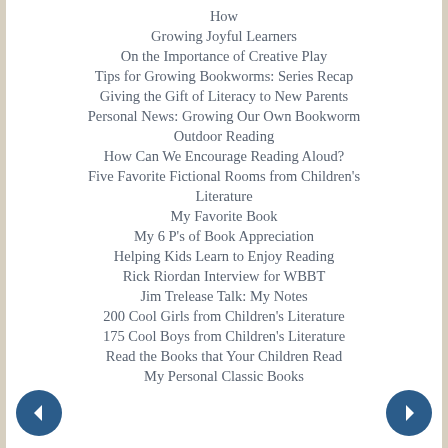How
Growing Joyful Learners
On the Importance of Creative Play
Tips for Growing Bookworms: Series Recap
Giving the Gift of Literacy to New Parents
Personal News: Growing Our Own Bookworm
Outdoor Reading
How Can We Encourage Reading Aloud?
Five Favorite Fictional Rooms from Children's Literature
My Favorite Book
My 6 P's of Book Appreciation
Helping Kids Learn to Enjoy Reading
Rick Riordan Interview for WBBT
Jim Trelease Talk: My Notes
200 Cool Girls from Children's Literature
175 Cool Boys from Children's Literature
Read the Books that Your Children Read
My Personal Classic Books